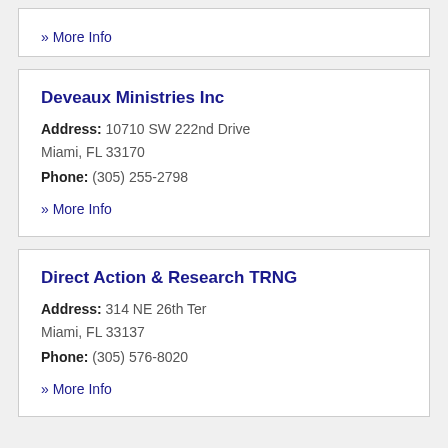» More Info
Deveaux Ministries Inc
Address: 10710 SW 222nd Drive Miami, FL 33170
Phone: (305) 255-2798
» More Info
Direct Action & Research TRNG
Address: 314 NE 26th Ter Miami, FL 33137
Phone: (305) 576-8020
» More Info